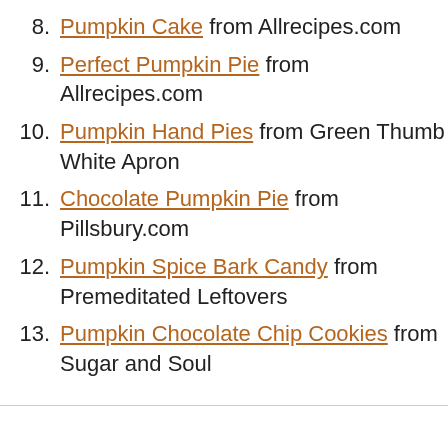8. Pumpkin Cake from Allrecipes.com
9. Perfect Pumpkin Pie from Allrecipes.com
10. Pumpkin Hand Pies from Green Thumb White Apron
11. Chocolate Pumpkin Pie from Pillsbury.com
12. Pumpkin Spice Bark Candy from Premeditated Leftovers
13. Pumpkin Chocolate Chip Cookies from Sugar and Soul